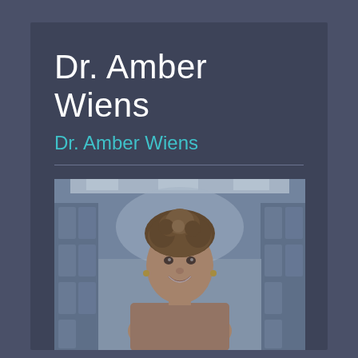Dr. Amber Wiens
Dr. Amber Wiens
[Figure (photo): Portrait photo of Dr. Amber Wiens, a woman with curly brown hair pulled up, smiling, photographed in a hospital corridor with blurred background]